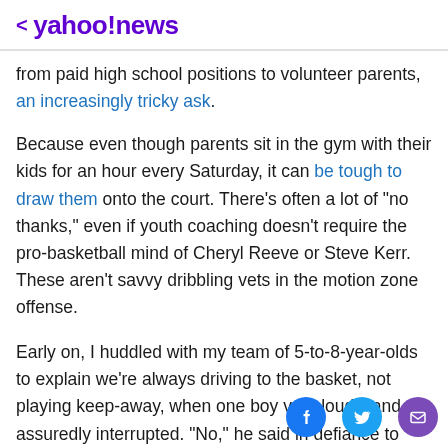< yahoo!news
from paid high school positions to volunteer parents, an increasingly tricky ask.
Because even though parents sit in the gym with their kids for an hour every Saturday, it can be tough to draw them onto the court. There’s often a lot of “no thanks,” even if youth coaching doesn’t require the pro-basketball mind of Cheryl Reeve or Steve Kerr. These aren’t savvy dribbling vets in the motion zone offense.
Early on, I huddled with my team of 5-to-8-year-olds to explain we’re always driving to the basket, not playing keep-away, when one boy very loudly and assuredly interrupted. “No,” he said in defiance to what I thought